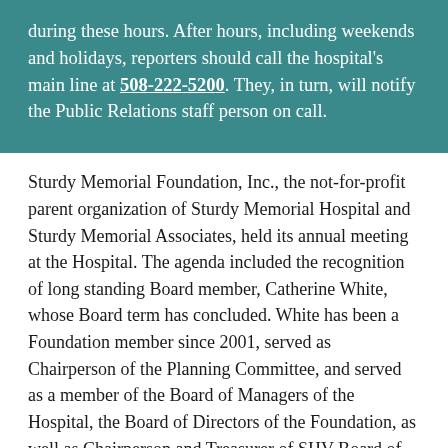during these hours. After hours, including weekends and holidays, reporters should call the hospital's main line at 508-222-5200. They, in turn, will notify the Public Relations staff person on call.
Sturdy Memorial Foundation, Inc., the not-for-profit parent organization of Sturdy Memorial Hospital and Sturdy Memorial Associates, held its annual meeting at the Hospital. The agenda included the recognition of long standing Board member, Catherine White, whose Board term has concluded. White has been a Foundation member since 2001, served as Chairperson of the Planning Committee, and served as a member of the Board of Managers of the Hospital, the Board of Directors of the Foundation, as well as Chairperson and Treasurer of SHV Board of Directors. One new Board member was elected - Colleen McGahan, Esq., attorney at Coogan, Smith, McGahan, Lorince, Jacobi, & Shanley